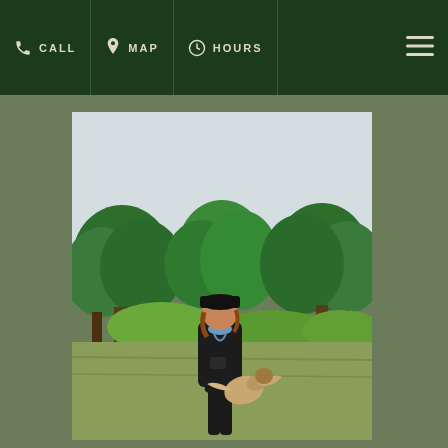CALL  MAP  HOURS
[Figure (photo): A person wearing a black cap and jacket, carrying what appears to be a bird (possibly a raptor/owl), walking outdoors in front of lush green trees. The setting appears to be a wildlife or nature center.]